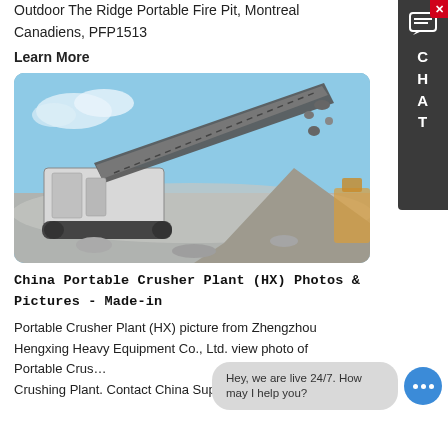Outdoor The Ridge Portable Fire Pit, Montreal Canadiens, PFP1513
Learn More
[Figure (photo): A portable crusher plant machine operating at a quarry site, with blue sky in background and crushed rock material visible.]
China Portable Crusher Plant (HX) Photos & Pictures - Made-in
Portable Crusher Plant (HX) picture from Zhengzhou Hengxing Heavy Equipment Co., Ltd. view photo of Portable Crus... Crushing Plant. Contact China Suppliers for More